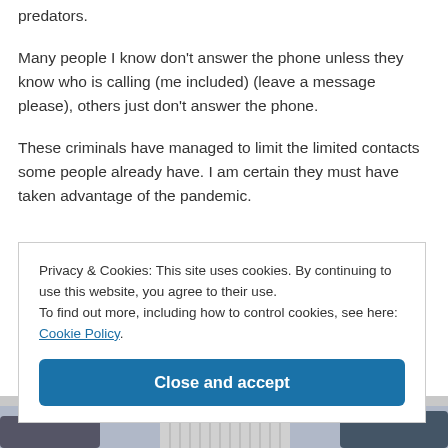predators.
Many people I know don't answer the phone unless they know who is calling (me included) (leave a message please), others just don't answer the phone.
These criminals have managed to limit the limited contacts some people already have. I am certain they must have taken advantage of the pandemic.
Privacy & Cookies: This site uses cookies. By continuing to use this website, you agree to their use.
To find out more, including how to control cookies, see here: Cookie Policy
Close and accept
[Figure (illustration): Partial illustration visible at the bottom of the page, appears to show a comic or graphic novel style drawing]